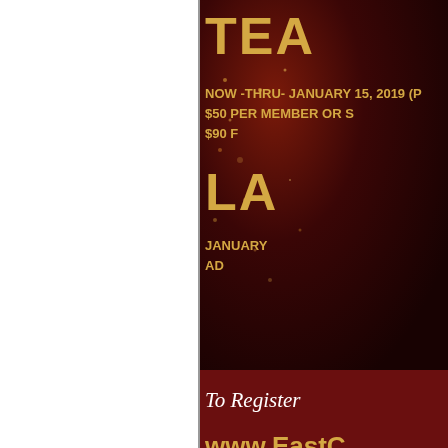[Figure (photo): Cropped event registration banner with dark red/maroon background and gold text. Partially visible text includes: 'TEA' (early bird heading), 'NOW -THRU- JANUARY 15, 2019 (P...', '$50 PER MEMBER OR S...', '$90 F...', 'LA' (late registration heading), 'JANUARY...', 'AD...', 'To Register', 'www.EastC...']
Share this:
[Figure (other): Row of social sharing buttons: Email (green icon), StumbleUpon (green/blue icon), LinkedIn/sharing (blue icon with two people figures), Facebook (blue f icon)]
Posted in Business, Arts & Entertainment, Sports,